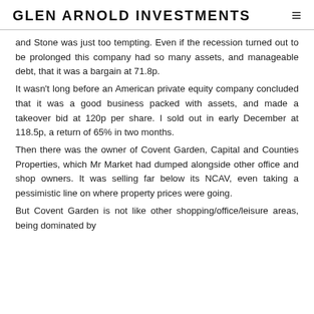GLEN ARNOLD INVESTMENTS
and Stone was just too tempting. Even if the recession turned out to be prolonged this company had so many assets, and manageable debt, that it was a bargain at 71.8p.
It wasn't long before an American private equity company concluded that it was a good business packed with assets, and made a takeover bid at 120p per share. I sold out in early December at 118.5p, a return of 65% in two months.
Then there was the owner of Covent Garden, Capital and Counties Properties, which Mr Market had dumped alongside other office and shop owners. It was selling far below its NCAV, even taking a pessimistic line on where property prices were going.
But Covent Garden is not like other shopping/office/leisure areas, being dominated by